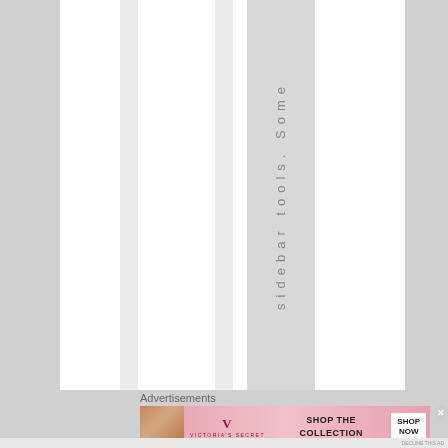sidebar tools. Some
Advertisements
[Figure (screenshot): Victoria's Secret advertisement banner: 'SHOP THE COLLECTION' with SHOP NOW button]